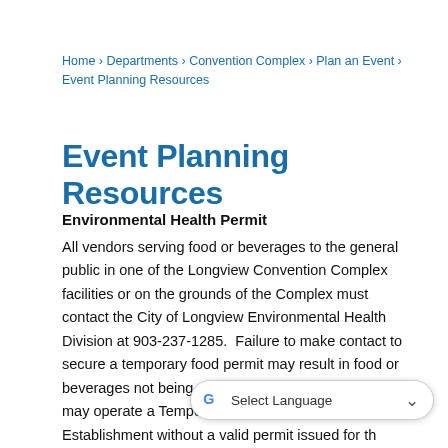Home › Departments › Convention Complex › Plan an Event › Event Planning Resources
Event Planning Resources
Environmental Health Permit
All vendors serving food or beverages to the general public in one of the Longview Convention Complex facilities or on the grounds of the Complex must contact the City of Longview Environmental Health Division at 903-237-1285.  Failure to make contact to secure a temporary food permit may result in food or beverages not being allowed at the event.   No one may operate a Temporary Food Service Establishment without a valid permit issued for the event.  The Temporary Food Service Permit must be conspicuously posted in view of the public.  Failure to